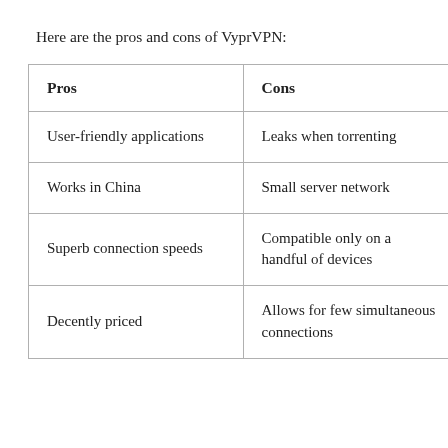Here are the pros and cons of VyprVPN:
| Pros | Cons |
| --- | --- |
| User-friendly applications | Leaks when torrenting |
| Works in China | Small server network |
| Superb connection speeds | Compatible only on a handful of devices |
| Decently priced | Allows for few simultaneous connections |